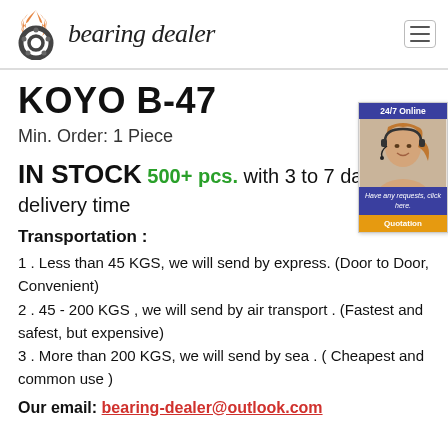bearing dealer
KOYO B-47
Min. Order: 1 Piece
IN STOCK 500+ pcs. with 3 to 7 days delivery time
Transportation :
1 . Less than 45 KGS, we will send by express. (Door to Door, Convenient)
2 . 45 - 200 KGS , we will send by air transport . (Fastest and safest, but expensive)
3 . More than 200 KGS, we will send by sea . ( Cheapest and common use )
Our email: bearing-dealer@outlook.com
[Figure (photo): 24/7 online chat widget showing a customer service representative with headset, message 'Have any requests, click here.' and a Quotation button]